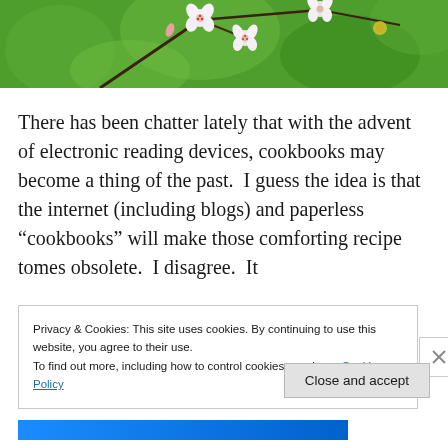[Figure (photo): A close-up photograph of white and pink cherry blossoms on branches against a blurred green background.]
There has been chatter lately that with the advent of electronic reading devices, cookbooks may become a thing of the past.  I guess the idea is that the internet (including blogs) and paperless “cookbooks” will make those comforting recipe tomes obsolete.  I disagree.  It
Privacy & Cookies: This site uses cookies. By continuing to use this website, you agree to their use.
To find out more, including how to control cookies, see here: Cookie Policy
Close and accept